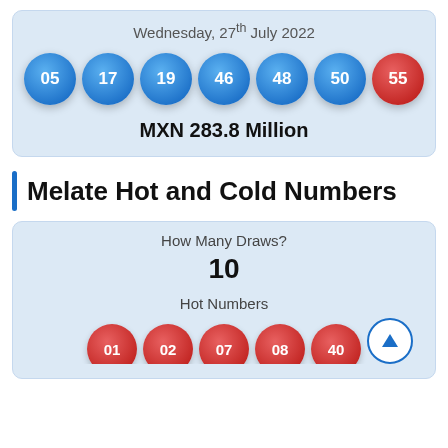Wednesday, 27th July 2022
[Figure (infographic): Seven lottery balls: six blue numbered 05, 17, 19, 46, 48, 50 and one red numbered 55]
MXN 283.8 Million
Melate Hot and Cold Numbers
How Many Draws?
10
Hot Numbers
[Figure (infographic): Partial row of red lottery balls with numbers partially visible: 01, 02, 07, 08, 40]